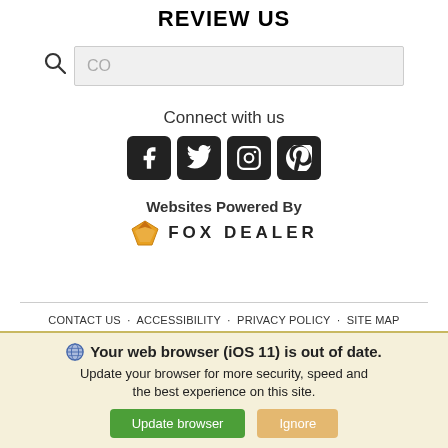REVIEW US
[Figure (other): Search box with magnifying glass icon and placeholder text 'CO']
Connect with us
[Figure (other): Social media icons: Facebook, Twitter, Instagram, Pinterest]
Websites Powered By
[Figure (logo): Fox Dealer logo with orange fox icon and text FOX DEALER]
CONTACT US · ACCESSIBILITY · PRIVACY POLICY · SITE MAP · DO NOT SELL MY PERSONAL INFORMATION · COPYRIGHT © MURRAY CHEVROLET MEDICINE HAT ALL RIGHTS RESERVED.
Your web browser (iOS 11) is out of date. Update your browser for more security, speed and the best experience on this site.